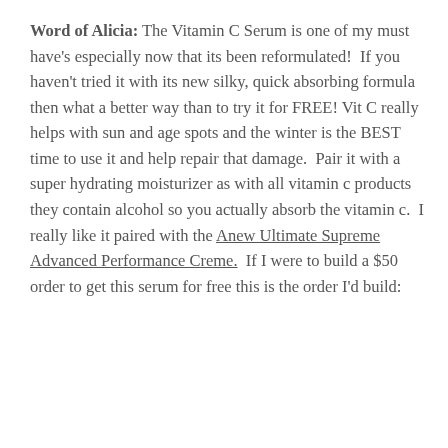Word of Alicia: The Vitamin C Serum is one of my must have's especially now that its been reformulated!  If you haven't tried it with its new silky, quick absorbing formula then what a better way than to try it for FREE! Vit C really helps with sun and age spots and the winter is the BEST time to use it and help repair that damage.  Pair it with a super hydrating moisturizer as with all vitamin c products they contain alcohol so you actually absorb the vitamin c.  I really like it paired with the Anew Ultimate Supreme Advanced Performance Creme.  If I were to build a $50 order to get this serum for free this is the order I'd build: